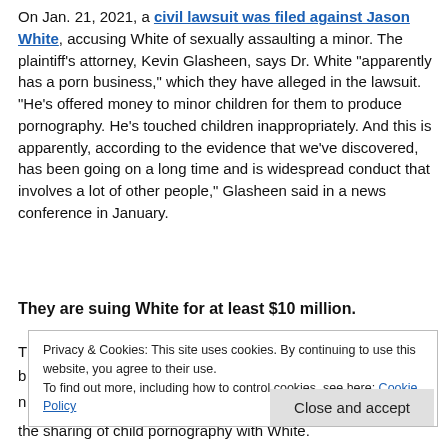On Jan. 21, 2021, a civil lawsuit was filed against Jason White, accusing White of sexually assaulting a minor. The plaintiff's attorney, Kevin Glasheen, says Dr. White "apparently has a porn business," which they have alleged in the lawsuit. "He's offered money to minor children for them to produce pornography. He's touched children inappropriately. And this is apparently, according to the evidence that we've discovered, has been going on a long time and is widespread conduct that involves a lot of other people," Glasheen said in a news conference in January.
They are suing White for at least $10 million.
Privacy & Cookies: This site uses cookies. By continuing to use this website, you agree to their use. To find out more, including how to control cookies, see here: Cookie Policy
Close and accept
the sharing of child pornography with White.